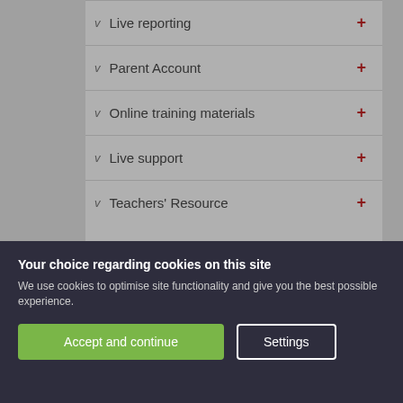Live reporting
Parent Account
Online training materials
Live support
Teachers' Resource
Your choice regarding cookies on this site
We use cookies to optimise site functionality and give you the best possible experience.
Accept and continue
Settings